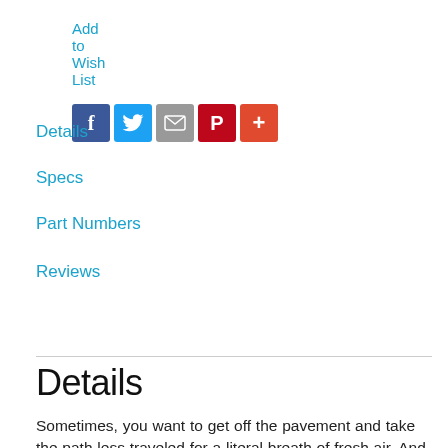Add to Wish List
[Figure (other): Social share icons: Facebook (blue), Twitter (light blue), Email (gray), Pinterest (red), Plus/More (orange-red)]
Details
Specs
Part Numbers
Reviews
Details
Sometimes, you want to get off the pavement and take the path less traveled for a literal breath of fresh air. And, thanks to the Batch MTB, you don't need an overcomplicated Baja-ready bruiser. You just need the reliability and comfort of a rugged, lightweight aluminum